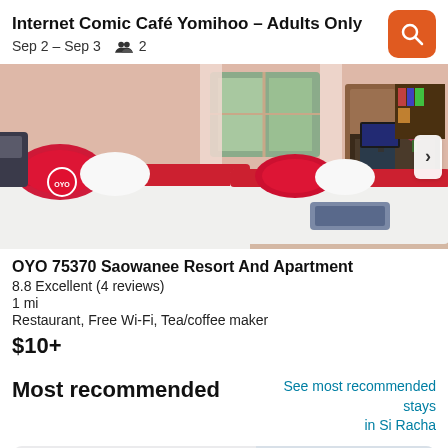Internet Comic Café Yomihoo – Adults Only
Sep 2 – Sep 3   👥 2
[Figure (photo): Hotel room photo showing two beds with red and white pillows and bedding, a desk with a TV, and a footstool. Salmon/peach colored walls with a window in the background.]
OYO 75370 Saowanee Resort And Apartment
8.8 Excellent (4 reviews)
1 mi
Restaurant, Free Wi-Fi, Tea/coffee maker
$10+
Most recommended
See most recommended stays in Si Racha
Aparthotel